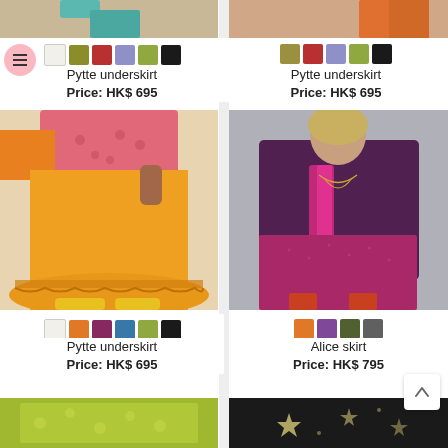[Figure (photo): Top portion of orange/beige underskirt product photo (partially visible at top)]
[Figure (photo): Top portion of orange/red product photo (partially visible at top)]
Pytte underskirt
Price: HK$ 695
Pytte underskirt
Price: HK$ 695
[Figure (photo): Orange Pytte underskirt worn by model, full length photo]
[Figure (photo): Alice skirt in magenta/purple worn by model, full length photo]
Pytte underskirt
Price: HK$ 695
Alice skirt
Price: HK$ 795
[Figure (photo): Bottom portion of lime green product (partially visible)]
[Figure (photo): Bottom portion of black product (partially visible)]